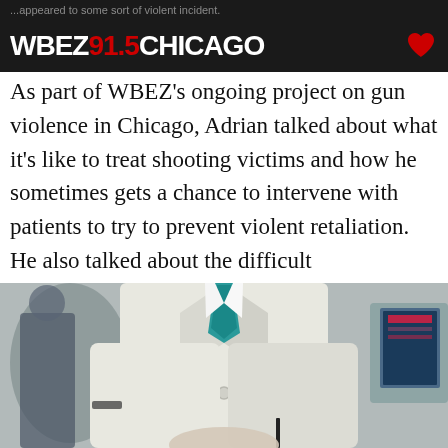...appeared to some sort of violent incident. WBEZ 91.5 CHICAGO
As part of WBEZ’s ongoing project on gun violence in Chicago, Adrian talked about what it’s like to treat shooting victims and how he sometimes gets a chance to intervene with patients to try to prevent violent retaliation. He also talked about the difficult responsibility of telling family and friends that their loved one has died.
[Figure (photo): A person wearing a white doctor's lab coat with a teal tie, standing with hands behind back. Medical equipment visible in the background.]